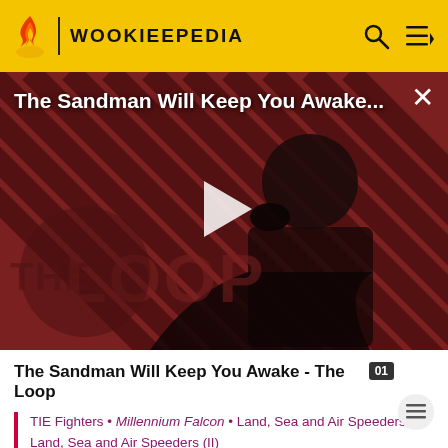WOOKIEEPEDIA
[Figure (screenshot): Video thumbnail for 'The Sandman Will Keep You Awake...' showing a dark-cloaked figure against a red and black diagonal striped background with 'THE LOOP' watermark and a play button in the center. A close (X) button is in the top right corner.]
The Sandman Will Keep You Awake - The Loop
TIE Fighters • Millennium Falcon • Land, Sea and Air Speeders (I) • Land, Sea and Air Speeders (II)
Ships of the Republic and Separatists (I) • Ships of the Republic and Separatists (II)
Ships of the Empire and the Rebellion • Ships of the First...